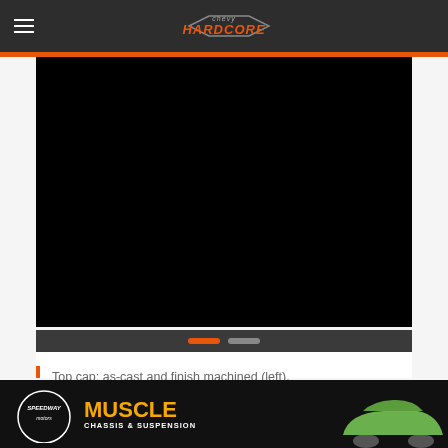Chevy Hardcore
[Figure (photo): Black video/photo display area with slider navigation dots (orange active dot and gray inactive dot)]
Top cap: as-cast and finish machined (left). Pre-load adjuster cast and machined (right).
[Figure (photo): Speedway Motors advertisement banner - MUSCLE CHASSIS & SUSPENSION with green muscle car]